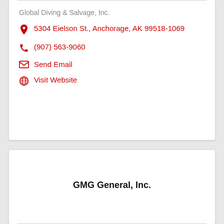Global Diving & Salvage, Inc.
5304 Eielson St., Anchorage, AK 99518-1069
(907) 563-9060
Send Email
Visit Website
GMG General, Inc.